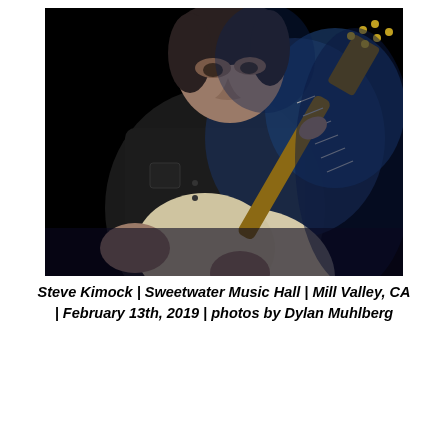[Figure (photo): Concert photo of Steve Kimock playing an electric guitar on a dark stage with blue lighting. He is wearing a dark denim shirt and focused on playing a white/cream colored Fender-style guitar.]
Steve Kimock | Sweetwater Music Hall | Mill Valley, CA | February 13th, 2019 | photos by Dylan Muhlberg